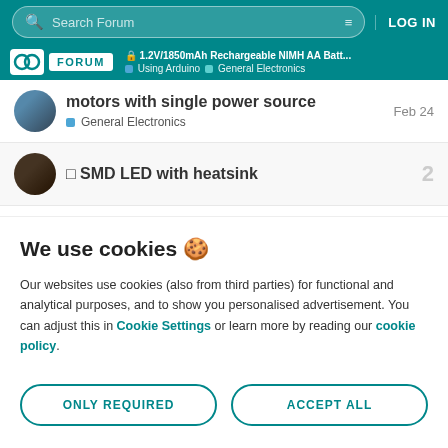Search Forum  LOG IN
🔒 1.2V/1850mAh Rechargeable NIMH AA Batt... Using Arduino  General Electronics
motors with single power source
General Electronics  Feb 24
☐ SMD LED with heatsink  2
We use cookies 🍪
Our websites use cookies (also from third parties) for functional and analytical purposes, and to show you personalised advertisement. You can adjust this in Cookie Settings or learn more by reading our cookie policy.
ONLY REQUIRED
ACCEPT ALL